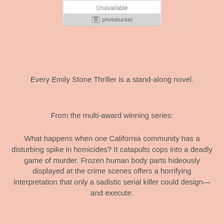[Figure (screenshot): Photobucket image placeholder showing 'Unavailable' and the Photobucket logo on a grey bar]
Every Emily Stone Thriller is a stand-along novel.
From the multi-award winning series:
What happens when one California community has a disturbing spike in homicides? It catapults cops into a deadly game of murder. Frozen human body parts hideously displayed at the crime scenes offers a horrifying interpretation that only a sadistic serial killer could design—and execute.
On the hunt for a complex serial killer, vigilante detective Emily Stone must face her most daring case yet. Stone's proven top-notch profiling skills and forensic expertise may not be enough this time.
Young and ambitious, Detective Danny Starr, catches the